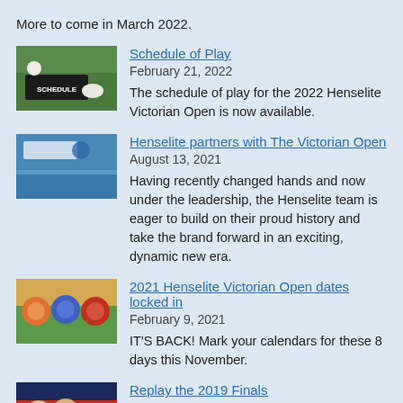More to come in March 2022.
[Figure (photo): Bowls player crouching near a black sign that says SCHEDULE on a lawn]
Schedule of Play
February 21, 2022
The schedule of play for the 2022 Henselite Victorian Open is now available.
[Figure (photo): Henselite banner with bowls balls in foreground]
Henselite partners with The Victorian Open
August 13, 2021
Having recently changed hands and now under the leadership, the Henselite team is eager to build on their proud history and take the brand forward in an exciting, dynamic new era.
[Figure (photo): Three smiling men posing together at a bowls event]
2021 Henselite Victorian Open dates locked in
February 9, 2021
IT'S BACK! Mark your calendars for these 8 days this November.
[Figure (photo): Replay the 2019 Finals thumbnail]
Replay the 2019 Finals